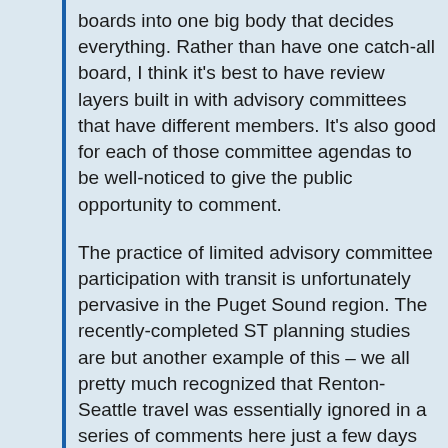boards into one big body that decides everything. Rather than have one catch-all board, I think it's best to have review layers built in with advisory committees that have different members. It's also good for each of those committee agendas to be well-noticed to give the public opportunity to comment.
The practice of limited advisory committee participation with transit is unfortunately pervasive in the Puget Sound region. The recently-completed ST planning studies are but another example of this – we all pretty much recognized that Renton-Seattle travel was essentially ignored in a series of comments here just a few days ago! Surely if this had been more widely discussed at an advisory committee level,